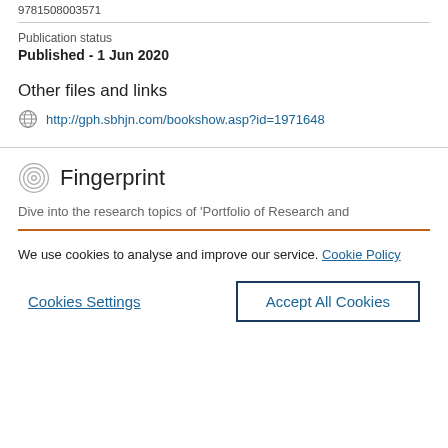9781508003571
Publication status
Published - 1 Jun 2020
Other files and links
http://gph.sbhjn.com/bookshow.asp?id=1971648
Fingerprint
Dive into the research topics of 'Portfolio of Research and
We use cookies to analyse and improve our service. Cookie Policy
Cookies Settings
Accept All Cookies